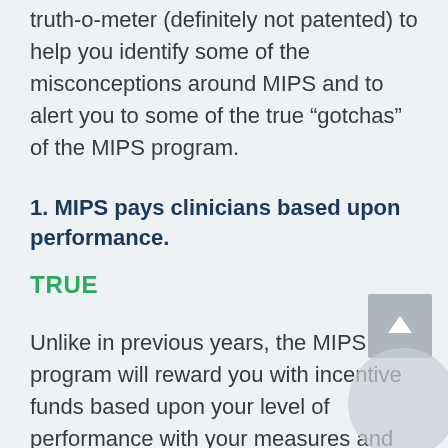truth-o-meter (definitely not patented) to help you identify some of the misconceptions around MIPS and to alert you to some of the true “gotchas” of the MIPS program.
1. MIPS pays clinicians based upon performance.
TRUE
Unlike in previous years, the MIPS program will reward you with incentive funds based upon your level of performance with your measures and your total MIPS s